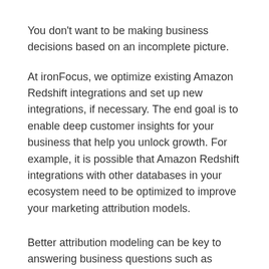You don't want to be making business decisions based on an incomplete picture.
At ironFocus, we optimize existing Amazon Redshift integrations and set up new integrations, if necessary. The end goal is to enable deep customer insights for your business that help you unlock growth. For example, it is possible that Amazon Redshift integrations with other databases in your ecosystem need to be optimized to improve your marketing attribution models.
Better attribution modeling can be key to answering business questions such as where to spend your marketing dollars, and what marketing strategies are working for your enterprise.